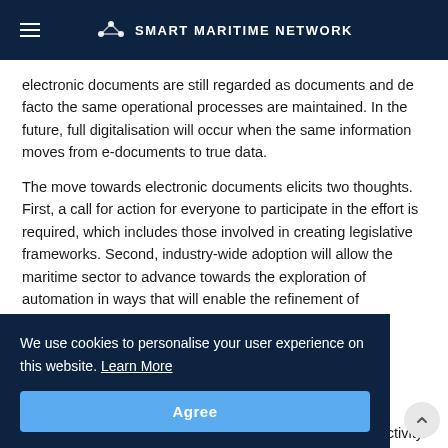SMART MARITIME NETWORK
electronic documents are still regarded as documents and de facto the same operational processes are maintained. In the future, full digitalisation will occur when the same information moves from e-documents to true data.
The move towards electronic documents elicits two thoughts. First, a call for action for everyone to participate in the effort is required, which includes those involved in creating legislative frameworks. Second, industry-wide adoption will allow the maritime sector to advance towards the exploration of automation in ways that will enable the refinement of transactions and the creation of new processes.
We use cookies to personalise your user experience on this website. Learn More
Agree
increased asset productivity.